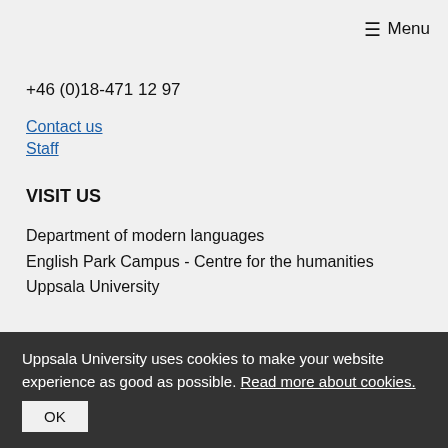☰ Menu
+46 (0)18-471 12 97
Contact us
Staff
VISIT US
Department of modern languages
English Park Campus - Centre for the humanities
Uppsala University
Uppsala University uses cookies to make your website experience as good as possible. Read more about cookies. OK